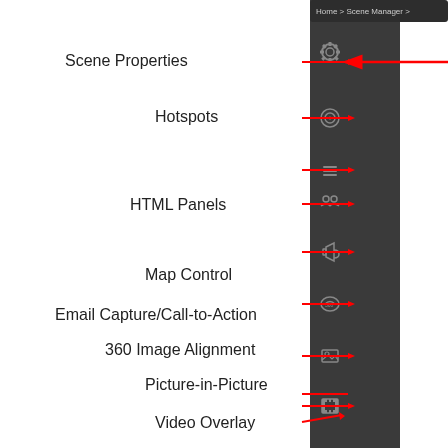[Figure (screenshot): Screenshot of a Scene Manager interface sidebar with icons on the right side of a dark panel. Labels with red arrows point to each icon from the left: Scene Properties (gear icon), Hotspots (target icon), HTML Panels (hamburger/lines icon and people icon), Map Control (megaphone icon), Email Capture/Call-to-Action (360 icon), 360 Image Alignment (image icon), Picture-in-Picture (film strip icon), Video Overlay. A breadcrumb at top right shows 'Home > Scene Manager >'.]